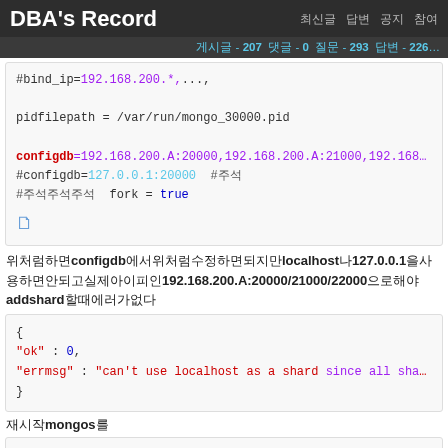DBA's Record  최신글  답변  공지  참여
게시글 - 207  댓글 - 0  질문 - 293  답변 - 226...
#bind_ip=192.168.200.*,...,
pidfilepath = /var/run/mongo_30000.pid
configdb=192.168.200.A:20000,192.168.200.A:21000,192.168...
#configdb=127.0.0.1:20000  #주석
#주석주석주석  fork = true
위처럼하면configdb에서위처럼수정하면되지만localhost나127.0.0.1을사용하면안되고실제아이피인192.168.200.A:20000/21000/22000으로해야addshard할때에러가없다
{
"ok" : 0,
"errmsg" : "can't use localhost as a shard since all sha..."
}
재시작mongos를
root@mongo1:~# mongos -f /etc/mongod_30000.conf
2015-07-10T14:42:58.741+0800 W SHARDING running with...